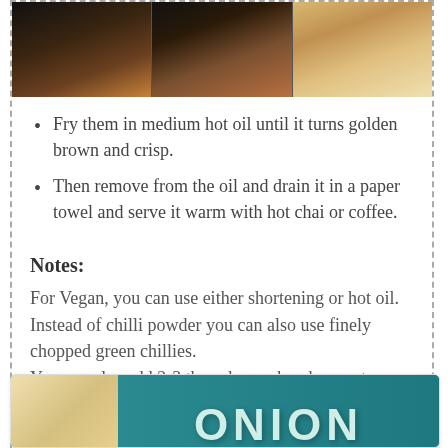[Figure (photo): Three-panel photo strip showing fried onion bhaji/pakoda — dark golden fried items in a pan and on a plate]
Fry them in medium hot oil until it turns golden brown and crisp.
Then remove from the oil and drain it in a paper towel and serve it warm with hot chai or coffee.
Notes:
For Vegan, you can use either shortening or hot oil.
Instead of chilli powder you can also use finely chopped green chillies.
You can also add 2-3 tbsp chopped cashew nuts.
I used yellow onions, you can use red onions or white onions.
[Figure (photo): Bottom image showing teal/blue background with decorative onion illustration and text reading ONION]